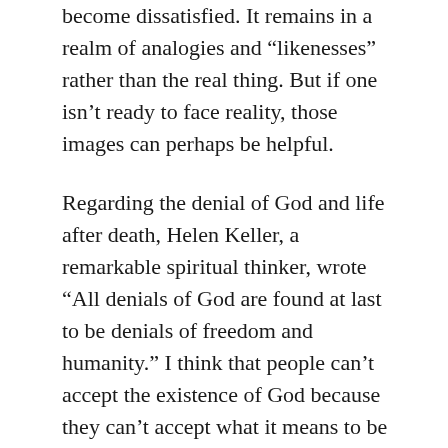become dissatisfied. It remains in a realm of analogies and “likenesses” rather than the real thing. But if one isn’t ready to face reality, those images can perhaps be helpful.
Regarding the denial of God and life after death, Helen Keller, a remarkable spiritual thinker, wrote “All denials of God are found at last to be denials of freedom and humanity.” I think that people can’t accept the existence of God because they can’t accept what it means to be a human being, and they’re afraid of freedom. They can’t conceive of an “afterlife” because they don’t live fully in this life; they sense how at the threshold of death, this feeble non-life will be snuffed out. So they are not wrong, in a way.